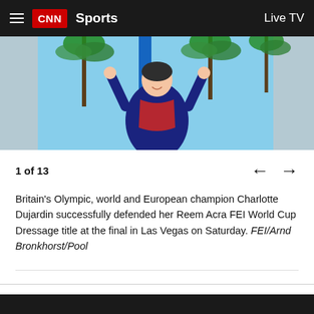CNN Sports Live TV
[Figure (photo): Charlotte Dujardin in equestrian uniform with arms raised in celebration, wearing a red sash, with palm trees in the background at Las Vegas.]
1 of 13
Britain's Olympic, world and European champion Charlotte Dujardin successfully defended her Reem Acra FEI World Cup Dressage title at the final in Las Vegas on Saturday. FEI/Arnd Bronkhorst/Pool